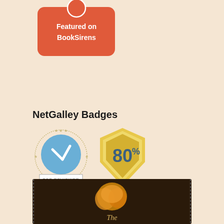[Figure (logo): Featured on BookSirens badge - red/coral rounded rectangle with white text reading 'Featured on BookSirens' with a circular logo at top]
NetGalley Badges
[Figure (infographic): Four NetGalley badges: Top Reviewer badge (blue circle with stars and pencil icon, text 'TOP REVIEWER'), 80% badge (gold shield shape with '80%' text), 100 Reviews badge (orange scalloped circle with '100 REVIEWS'), and NetGalley Member Professional Reader badge (green circle with swoosh arrow and text around border)]
[Figure (photo): Partial book cover visible at bottom - dark brown background with golden/orange rose or flower, text 'The' visible at bottom center]